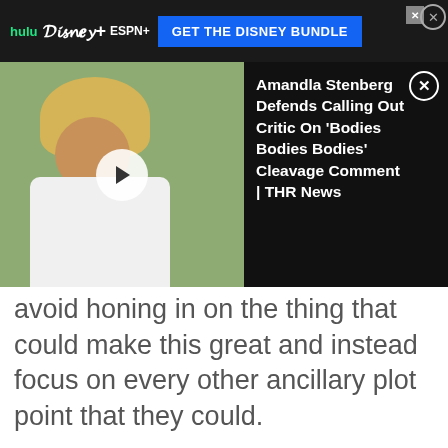[Figure (screenshot): Top advertisement banner with Hulu, Disney+, ESPN+ logos and 'GET THE DISNEY BUNDLE' button on dark background]
[Figure (screenshot): Video thumbnail showing person with blonde curly hair in white shirt against green background, with play button overlay]
[Figure (screenshot): Black overlay panel with text: Amandla Stenberg Defends Calling Out Critic On 'Bodies Bodies Bodies' Cleavage Comment | THR News]
avoid honing in on the thing that could make this great and instead focus on every other ancillary plot point that they could.
[Figure (screenshot): Bottom advertisement area with partially visible circular video player, ad logo (triangle/funnel icon) on left, and close button on right]